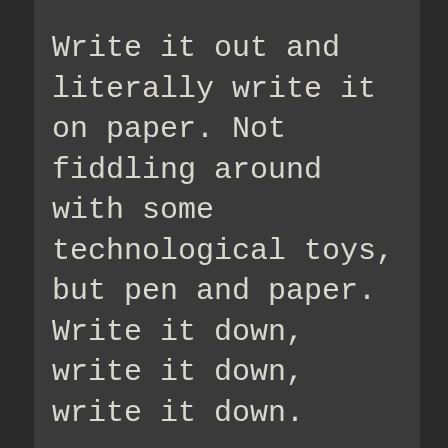Write it out and literally write it on paper. Not fiddling around with some technological toys, but pen and paper. Write it down, write it down, write it down.
And when you have a bad day like a real bad day, then you just go there and read it.
So the brain leads and the body follows. And that's the thing. When you always think "I'm so stressed and the whole world is against me."